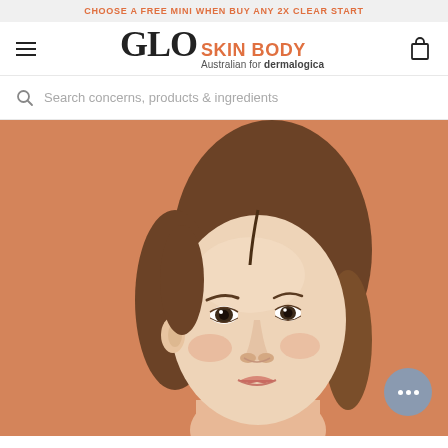CHOOSE A FREE MINI WHEN BUY ANY 2x CLEAR START
GLO SKIN BODY Australian for dermalogica
Search concerns, products & ingredients
[Figure (photo): Young woman with clear skin against an orange/terracotta background, viewed from slightly below, hair pulled back, looking directly at camera with a subtle expression]